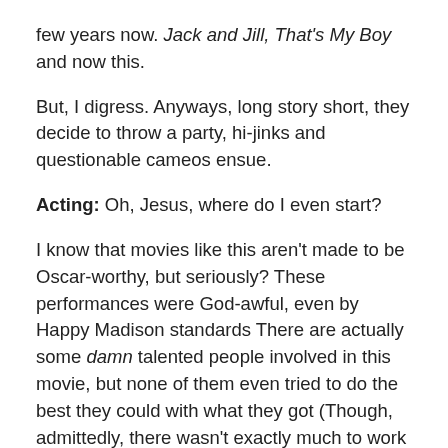few years now. Jack and Jill, That's My Boy and now this.
But, I digress. Anyways, long story short, they decide to throw a party, hi-jinks and questionable cameos ensue.
Acting: Oh, Jesus, where do I even start?
I know that movies like this aren't made to be Oscar-worthy, but seriously? These performances were God-awful, even by Happy Madison standards There are actually some damn talented people involved in this movie, but none of them even tried to do the best they could with what they got (Though, admittedly, there wasn't exactly much to work with in the first place). Obviously, I wasn't expecting too much from people like Nick Swardson, David Spade, Taylor Lautner, Kevin James or Shaquille O'Neal (Seriously), but I was at least expecting